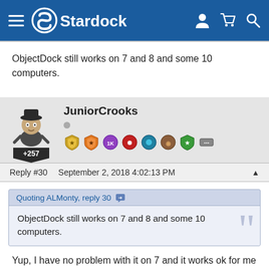Stardock
ObjectDock still works on 7 and 8 and some 10 computers.
[Figure (illustration): User avatar for JuniorCrooks with karma badge +257]
JuniorCrooks
Reply #30   September 2, 2018 4:02:13 PM
Quoting ALMonty, reply 30
ObjectDock still works on 7 and 8 and some 10 computers.
Yup, I have no problem with it on 7 and it works ok for me